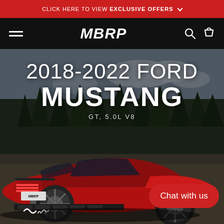CLICK HERE TO VIEW EXCLUSIVE OFFERS
[Figure (screenshot): MBRP website header with black navigation bar showing hamburger menu, MBRP logo, search and cart icons]
[Figure (photo): Red Ford Mustang GT 5.0L V8 (2018-2022) parked on a gravel road with pine trees in the background, viewed from the rear three-quarter angle, with an MBRP exhaust system visible]
2018-2022 FORD MUSTANG GT, 5.0L V8
Chat with us